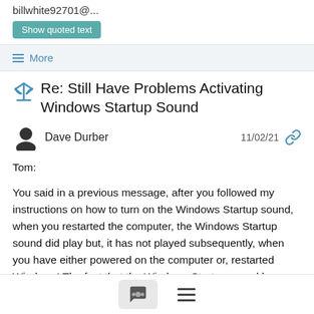billwhite92701@...
Show quoted text
More
Re: Still Have Problems Activating Windows Startup Sound
Dave Durber   11/02/21
Tom:
You said in a previous message, after you followed my instructions on how to turn on the Windows Startup sound, when you restarted the computer, the Windows Startup sound did play but, it has not played subsequently, when you have either powered on the computer or, restarted Windows! The fact that the Windows Startup sound has played once, indicates there maybe a problem with the Dell audio driver or drivers or has